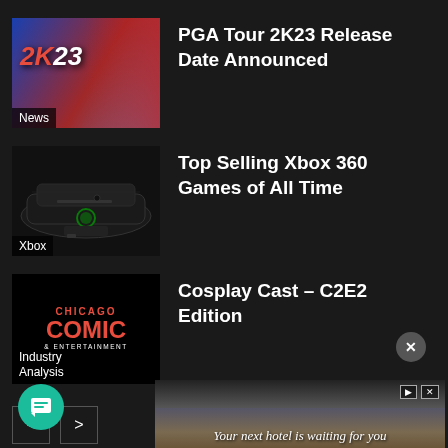[Figure (screenshot): Thumbnail image for PGA Tour 2K23 article with game cover art showing golfer and 2K23 logo, labeled 'News']
PGA Tour 2K23 Release Date Announced
[Figure (screenshot): Thumbnail image of Xbox 360 console in dark background, labeled 'Xbox']
Top Selling Xbox 360 Games of All Time
[Figure (screenshot): Thumbnail showing Chicago Comic & Entertainment logo on black background, labeled 'Industry Analysis']
Cosplay Cast – C2E2 Edition
[Figure (screenshot): Navigation buttons with left and right arrows for pagination]
[Figure (screenshot): Advertisement banner at bottom: 'Your next hotel is waiting for you' with hotel/resort background image, with close button (X) above and play/close controls. Green chat button on left.]